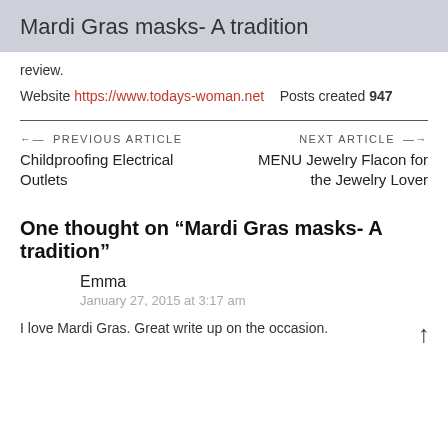Mardi Gras masks- A tradition
review.
Website https://www.todays-woman.net   Posts created 947
← PREVIOUS ARTICLE
Childproofing Electrical Outlets
NEXT ARTICLE →
MENU Jewelry Flacon for the Jewelry Lover
One thought on “Mardi Gras masks- A tradition”
Emma
January 27, 2015 at 3:17 am
I love Mardi Gras. Great write up on the occasion.